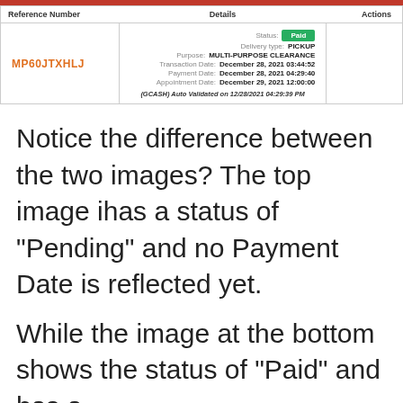[Figure (screenshot): A transaction record table showing reference number MP60JTXHLJ with status Paid, delivery type PICKUP, purpose MULTI-PURPOSE CLEARANCE, transaction date December 28 2021 03:44:52, payment date December 28 2021 04:29:40, appointment date December 29 2021 12:00:00, and a GCash auto validation note.]
Notice the difference between the two images? The top image ihas a status of “Pending” and no Payment Date is reflected yet.
While the image at the bottom shows the status of “Paid” and has a